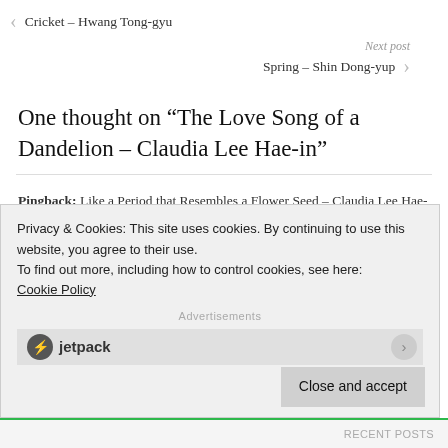Cricket – Hwang Tong-gyu
Next post
Spring – Shin Dong-yup
One thought on “The Love Song of a Dandelion – Claudia Lee Hae-in”
Pingback: Like a Period that Resembles a Flower Seed – Claudia Lee Hae-in | Ahn Translation
Leave a Reply
Privacy & Cookies: This site uses cookies. By continuing to use this website, you agree to their use.
To find out more, including how to control cookies, see here:
Cookie Policy
Close and accept
Advertisements
RECENT POSTS